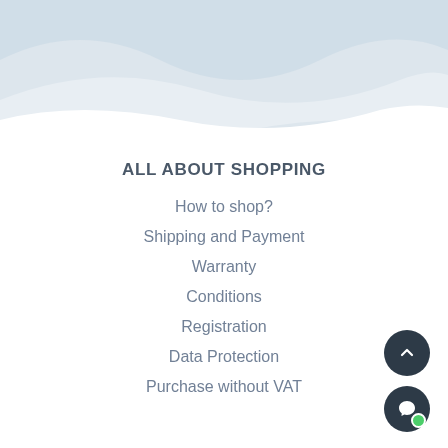[Figure (illustration): Light blue/grey wave decorative background at top of page]
ALL ABOUT SHOPPING
How to shop?
Shipping and Payment
Warranty
Conditions
Registration
Data Protection
Purchase without VAT
[Figure (illustration): Scroll-to-top button (dark circle with up arrow) and chat button (dark circle with speech bubble icon) with green online indicator dot, positioned bottom-right]